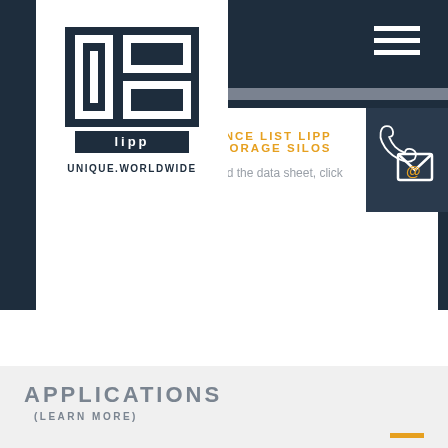[Figure (logo): Lipp logo — geometric square/rectangle pattern in dark navy with white cutouts, text UNIQUE.WORLDWIDE below]
REFERENCE LIST LIPP BULK STORAGE SILOS
To download the data sheet, click here.
[Figure (illustration): Contact icon: telephone handset with envelope and @ symbol on dark navy background]
APPLICATIONS
(LEARN MORE)